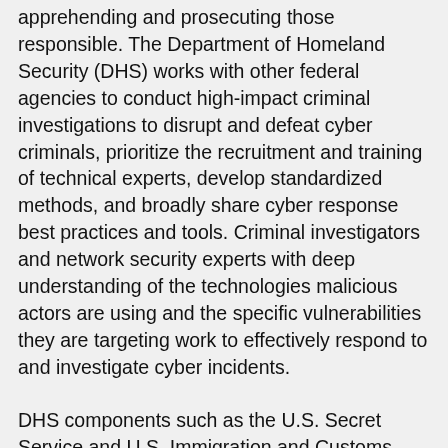apprehending and prosecuting those responsible. The Department of Homeland Security (DHS) works with other federal agencies to conduct high-impact criminal investigations to disrupt and defeat cyber criminals, prioritize the recruitment and training of technical experts, develop standardized methods, and broadly share cyber response best practices and tools. Criminal investigators and network security experts with deep understanding of the technologies malicious actors are using and the specific vulnerabilities they are targeting work to effectively respond to and investigate cyber incidents.
DHS components such as the U.S. Secret Service and U.S. Immigration and Customs Enforcement (ICE) have special divisions dedicated to